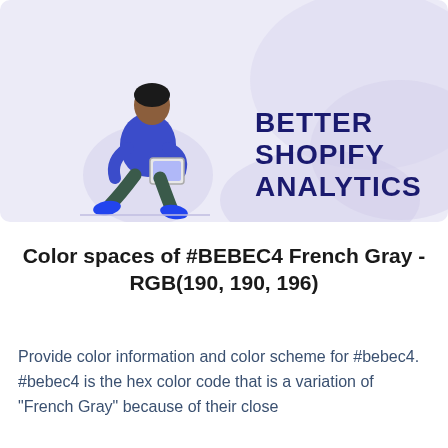[Figure (illustration): Banner image with light lavender/purple background showing a person sitting in a chair using a tablet, with swoosh design elements. Text overlay reads 'BETTER SHOPIFY ANALYTICS' in bold dark navy.]
Color spaces of #BEBEC4 French Gray - RGB(190, 190, 196)
Provide color information and color scheme for #bebec4. #bebec4 is the hex color code that is a variation of "French Gray" because of their close